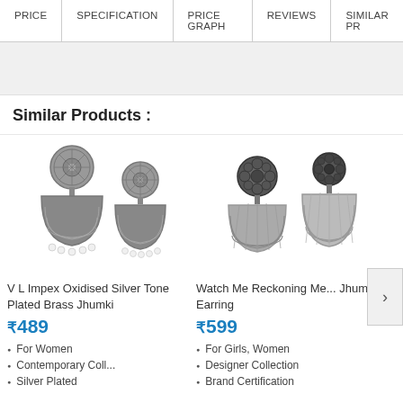PRICE | SPECIFICATION | PRICE GRAPH | REVIEWS | SIMILAR PR
Similar Products :
[Figure (photo): V L Impex Oxidised Silver Tone Plated Brass Jhumki earrings — two silver oxidised dome-shaped jhumki earrings with pearl droplets and circular disc tops]
V L Impex Oxidised Silver Tone Plated Brass Jhumki
₹489
For Women
Contemporary Coll...
Silver Plated
[Figure (photo): Watch Me Reckoning Metal Jhumki Earring — two dark metal oxidised dome jhumki earrings with dark floral stud tops]
Watch Me Reckoning Me... Jhumki Earring
₹599
For Girls, Women
Designer Collection
Brand Certification